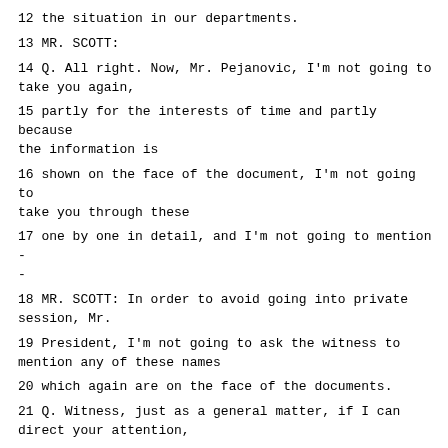12 the situation in our departments.
13 MR. SCOTT:
14 Q. All right. Now, Mr. Pejanovic, I'm not going to take you again,
15 partly for the interests of time and partly because the information is
16 shown on the face of the document, I'm not going to take you through these
17 one by one in detail, and I'm not going to mention -
-
18 MR. SCOTT: In order to avoid going into private session, Mr.
19 President, I'm not going to ask the witness to mention any of these names
20 which again are on the face of the documents.
21 Q. Witness, just as a general matter, if I can direct your attention,
22 as one example only, to Exhibit P07996, which should be the first item in
23 your bundle. If you could just focus on that for a